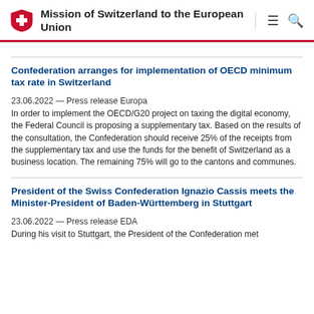Mission of Switzerland to the European Union
Confederation arranges for implementation of OECD minimum tax rate in Switzerland
23.06.2022 — Press release Europa
In order to implement the OECD/G20 project on taxing the digital economy, the Federal Council is proposing a supplementary tax. Based on the results of the consultation, the Confederation should receive 25% of the receipts from the supplementary tax and use the funds for the benefit of Switzerland as a business location. The remaining 75% will go to the cantons and communes.
President of the Swiss Confederation Ignazio Cassis meets the Minister-President of Baden-Württemberg in Stuttgart
23.06.2022 — Press release EDA
During his visit to Stuttgart, the President of the Confederation met